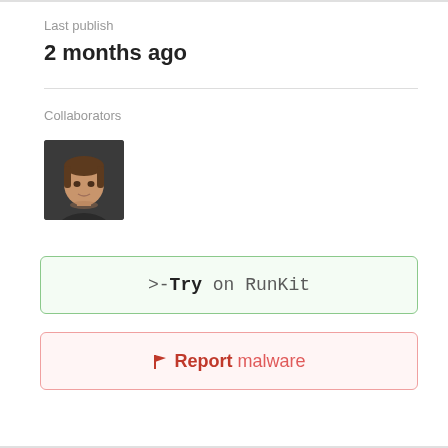Last publish
2 months ago
Collaborators
[Figure (photo): Avatar photo of a collaborator, a person with brown hair on dark background]
>-Try on RunKit
🚩Report malware